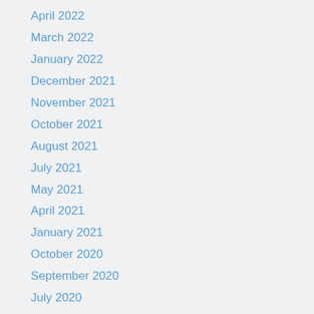April 2022
March 2022
January 2022
December 2021
November 2021
October 2021
August 2021
July 2021
May 2021
April 2021
January 2021
October 2020
September 2020
July 2020
June 2020
May 2020
April 2020
January 2020
November 2019